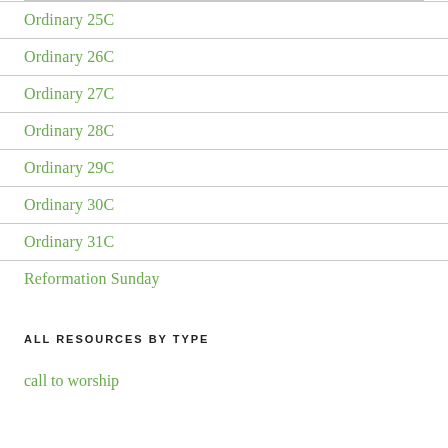Ordinary 25C
Ordinary 26C
Ordinary 27C
Ordinary 28C
Ordinary 29C
Ordinary 30C
Ordinary 31C
Reformation Sunday
ALL RESOURCES BY TYPE
call to worship